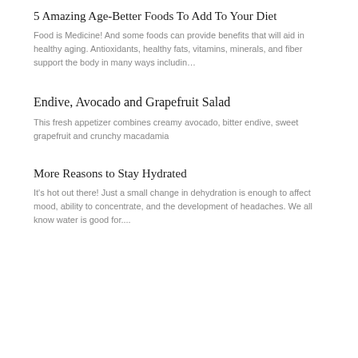5 Amazing Age-Better Foods To Add To Your Diet
Food is Medicine! And some foods can provide benefits that will aid in healthy aging. Antioxidants, healthy fats, vitamins, minerals, and fiber support the body in many ways includin…
Endive, Avocado and Grapefruit Salad
This fresh appetizer combines creamy avocado, bitter endive, sweet grapefruit and crunchy macadamia
More Reasons to Stay Hydrated
It's hot out there! Just a small change in dehydration is enough to affect mood, ability to concentrate, and the development of headaches. We all know water is good for....